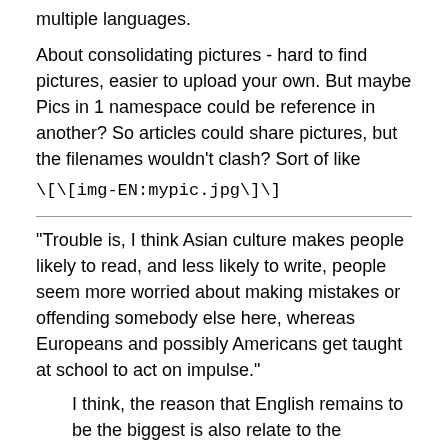multiple languages.
About consolidating pictures - hard to find pictures, easier to upload your own. But maybe Pics in 1 namespace could be reference in another? So articles could share pictures, but the filenames wouldn't clash? Sort of like
\[\[img-EN:mypic.jpg\]\]
"Trouble is, I think Asian culture makes people likely to read, and less likely to write, people seem more worried about making mistakes or offending somebody else here, whereas Europeans and possibly Americans get taught at school to act on impulse."
I think, the reason that English remains to be the biggest is also relate to the database designing and access to Meta - where policies will be discussed and made.
日本語版でも「あの」「その」などの